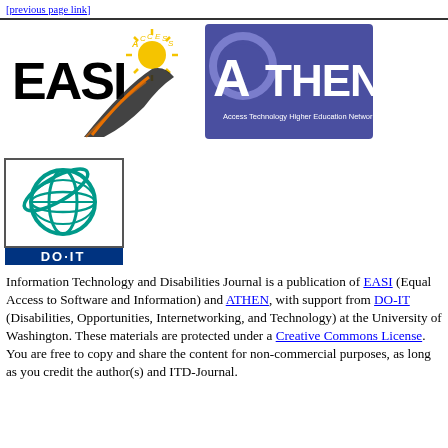[link to previous page]
[Figure (logo): EASI Access logo with sun and road graphic]
[Figure (logo): ATHEN - Access Technology Higher Education Network logo, blue background]
[Figure (logo): DO-IT logo with globe graphic]
Information Technology and Disabilities Journal is a publication of EASI (Equal Access to Software and Information) and ATHEN, with support from DO-IT (Disabilities, Opportunities, Internetworking, and Technology) at the University of Washington. These materials are protected under a Creative Commons License. You are free to copy and share the content for non-commercial purposes, as long as you credit the author(s) and ITD-Journal.